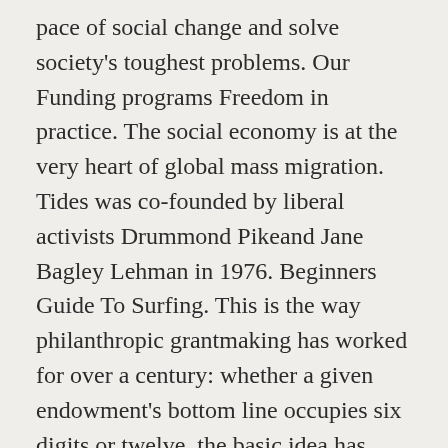pace of social change and solve society's toughest problems. Our Funding programs Freedom in practice. The social economy is at the very heart of global mass migration. Tides was co-founded by liberal activists Drummond Pikeand Jane Bagley Lehman in 1976. Beginners Guide To Surfing. This is the way philanthropic grantmaking has worked for over a century: whether a given endowment's bottom line occupies six digits or twelve, the basic idea has remained the same. The Pew Charitable Trusts was funded by Joseph Pew's Sun Oil Company earnings, the David & Lucille Packard Foundation got its endowment from the Hewlett-Packard fortune, the Charles Stewart